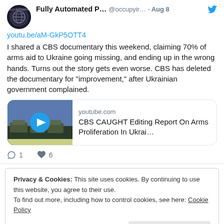[Figure (screenshot): Twitter/X screenshot of a tweet from 'Fully Automated P...' (@occupyir...) dated Aug 8, with a YouTube link preview card for 'CBS CAUGHT Editing Report On Arms Proliferation In Ukrai...' and engagement counts of 1 reply and 6 likes.]
youtu.be/aM-GkP5OTT4
I shared a CBS documentary this weekend, claiming 70% of arms aid to Ukraine going missing, and ending up in the wrong hands. Turns out the story gets even worse. CBS has deleted the documentary for "improvement," after Ukrainian government complained.
[Figure (screenshot): YouTube link preview card showing 'youtube.com' and title 'CBS CAUGHT Editing Report On Arms Proliferation In Ukrai...' with a thumbnail of military vehicles and a blue play button.]
Privacy & Cookies: This site uses cookies. By continuing to use this website, you agree to their use.
To find out more, including how to control cookies, see here: Cookie Policy
Close and accept